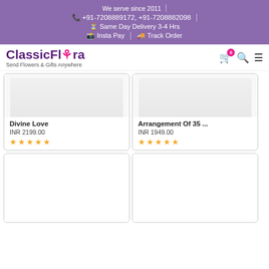We serve since 2011 | ☎ +91-7208889172, +91-7208882098 | ⏱ Same Day Delivery 3-4 Hrs | 💳 Insta Pay | 🚚 Track Order
[Figure (logo): ClassicFlora logo with rose icon. Text: ClassicFlora - Send Flowers & Gifts Anywhere]
Divine Love
INR 2199.00
★★★★★
Arrangement Of 35 ...
INR 1949.00
★★★★★